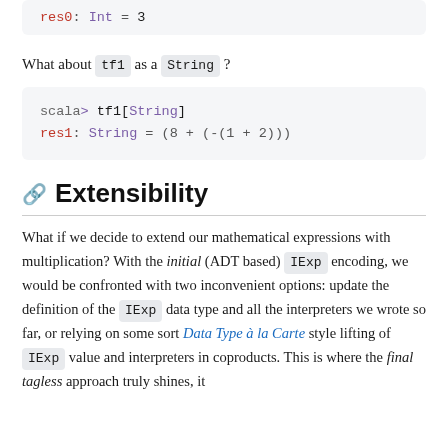[Figure (screenshot): Code block at top showing: res0: Int = 3 (partially visible)]
What about tf1 as a String ?
[Figure (screenshot): Scala REPL code block: scala> tf1[String] / res1: String = (8 + (-(1 + 2)))]
Extensibility
What if we decide to extend our mathematical expressions with multiplication? With the initial (ADT based) IExp encoding, we would be confronted with two inconvenient options: update the definition of the IExp data type and all the interpreters we wrote so far, or relying on some sort Data Type à la Carte style lifting of IExp value and interpreters in coproducts. This is where the final tagless approach truly shines, it